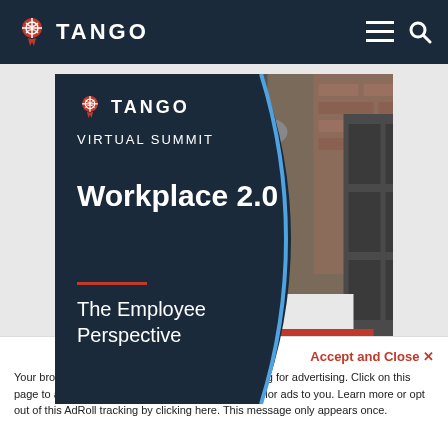TANGO — navigation bar with logo, hamburger menu, and search icon
[Figure (screenshot): Tango Virtual Summit promotional banner showing 'Workplace 2.0 — The Employee Perspective' with office photo on the right side]
Accept and Close ✕
Your browser settings do not allow cross-site tracking for advertising. Click on this page to allow AdRoll to use cross-site tracking to tailor ads to you. Learn more or opt out of this AdRoll tracking by clicking here. This message only appears once.